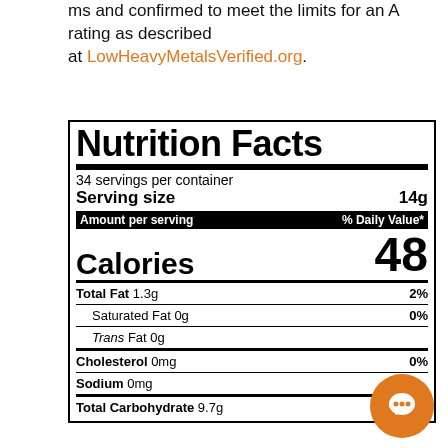ms and confirmed to meet the limits for an A rating as described at LowHeavyMetalsVerified.org.
| Nutrition Facts |
| 34 servings per container |
| Serving size | 14g |
| Amount per serving | % Daily Value* |
| Calories | 48 |
| Total Fat 1.3g | 2% |
| Saturated Fat 0g | 0% |
| Trans Fat 0g |  |
| Cholesterol 0mg | 0% |
| Sodium 0mg |  |
| Total Carbohydrate 9.7g | 4% |